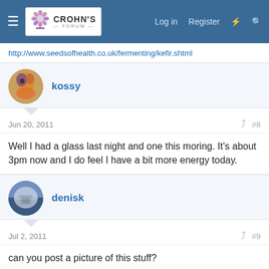Crohn's Forum — Log in  Register
http://www.seedsofhealth.co.uk/fermenting/kefir.shtml
kossy
Jun 20, 2011  #8
Well I had a glass last night and one this moring. It's about 3pm now and I do feel I have a bit more energy today.
denisk
Jul 2, 2011  #9
can you post a picture of this stuff?
Piatchi